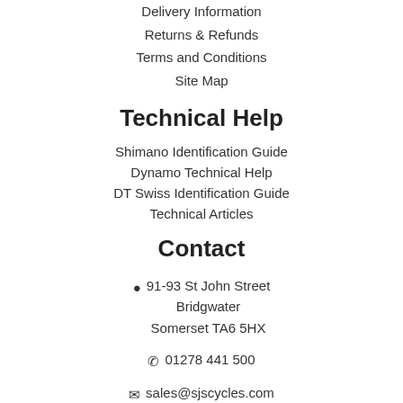Delivery Information
Returns & Refunds
Terms and Conditions
Site Map
Technical Help
Shimano Identification Guide
Dynamo Technical Help
DT Swiss Identification Guide
Technical Articles
Contact
91-93 St John Street Bridgwater Somerset TA6 5HX
01278 441 500
sales@sjscycles.com
Monday to Friday 08:00 - 16.30